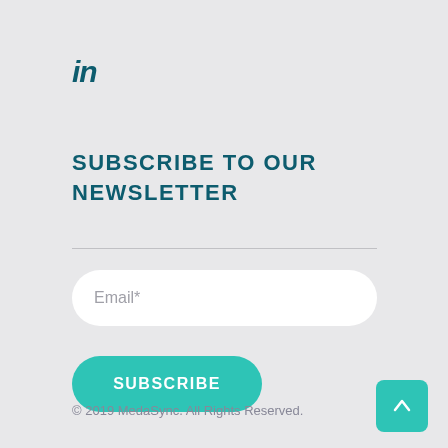[Figure (logo): LinkedIn 'in' logo in teal/dark teal color]
SUBSCRIBE TO OUR NEWSLETTER
[Figure (other): Horizontal divider line]
[Figure (other): Email input field with placeholder text 'Email*']
[Figure (other): Teal rounded SUBSCRIBE button]
© 2019 MedaSync. All Rights Reserved.